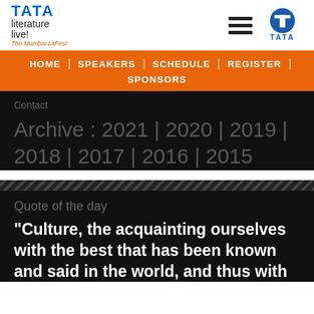[Figure (logo): TATA Literature Live! The Mumbai LitFest logo on left, hamburger menu icon and TATA circular logo on right]
HOME | SPEAKERS | SCHEDULE | REGISTER | SPONSORS
Contact
Archive : 2021 | 2020 | 2019 | 2018 | 2017 | 2016 | 2015
Quote of the day
"Culture, the acquainting ourselves with the best that has been known and said in the world, and thus with